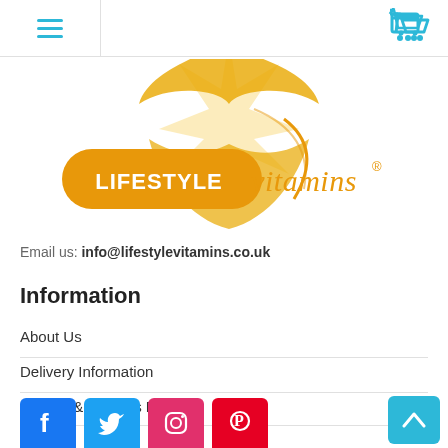Navigation bar with hamburger menu and cart icon
[Figure (logo): Lifestyle Vitamins logo — orange pill-shaped badge with LIFESTYLE in white, 'vitamins' in gold italic text, with a golden sun/star burst graphic above]
Email us: info@lifestylevitamins.co.uk
Information
About Us
Delivery Information
Privacy & Cookies Policy
Terms & Conditions
[Figure (other): Social media icon buttons: Facebook (blue), Twitter (light blue), Instagram (pink/red), Pinterest (red)]